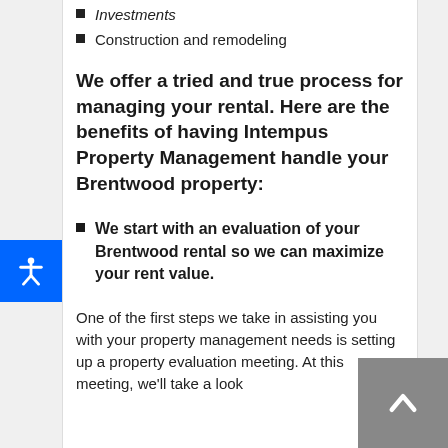Investments
Construction and remodeling
We offer a tried and true process for managing your rental. Here are the benefits of having Intempus Property Management handle your Brentwood property:
We start with an evaluation of your Brentwood rental so we can maximize your rent value.
One of the first steps we take in assisting you with your property management needs is setting up a property evaluation meeting. At this meeting, we'll take a look